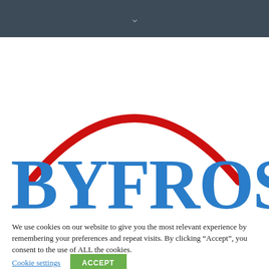[Figure (logo): Byfrost logo: large blue serif text 'BYFROST' with a red arch over it]
We use cookies on our website to give you the most relevant experience by remembering your preferences and repeat visits. By clicking “Accept”, you consent to the use of ALL the cookies.
Cookie settings   ACCEPT